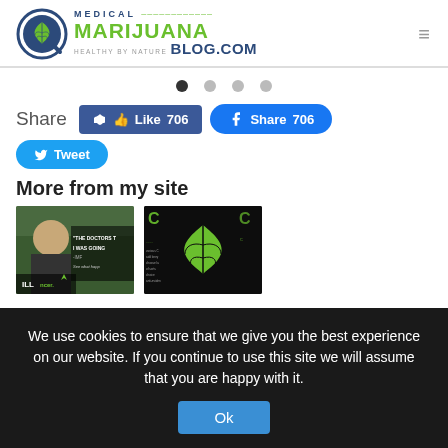[Figure (logo): Medical Marijuana Blog.com logo with cannabis leaf icon and circular design]
Share  Like 706  Share 706  Tweet
More from my site
[Figure (photo): Man with text overlay: THE DOCTORS T I WAS GOING - See what happ, ILL ncer.]
[Figure (photo): Cannabis leaf on dark background with C letters and text overlay]
We use cookies to ensure that we give you the best experience on our website. If you continue to use this site we will assume that you are happy with it.